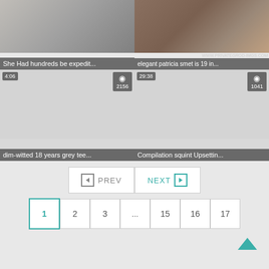[Figure (screenshot): Video thumbnail grid showing 4 video items. Top-left: woman sitting on white couch, gray shirt. Top-right: two women, one closer to camera. Bottom-left: gray placeholder with 4:06 time badge, 2156 views. Bottom-right: gray placeholder with 29:38 time badge, 1041 views.]
She Had hundreds be expedit...
elegant patricia smet is 19 in...
dim-witted 18 years grey tee...
Compilation squint Upsettin...
◄ PREV   NEXT ►
1   2   3   ...   15   16   17